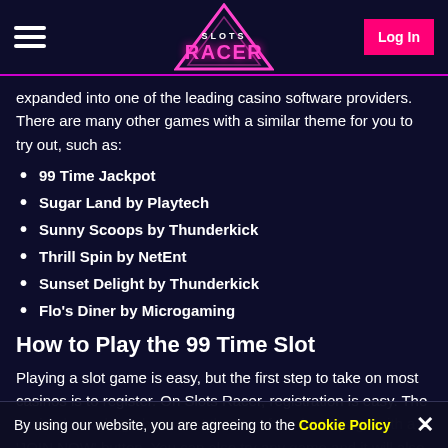Slots Racer — Log In
expanded into one of the leading casino software providers. There are many other games with a similar theme for you to try out, such as:
99 Time Jackpot
Sugar Land by Playtech
Sunny Scoops by Thunderkick
Thrill Spin by NetEnt
Sunset Delight by Thunderkick
Flo's Diner by Microgaming
How to Play the 99 Time Slot
Playing a slot game is easy, but the first step to take on most casinos is to register. On Slots Racer, registration is easy. The casino has a large banner at the top of the homepage with a 'Join Now' button. You can also try any game and it will also trigger the registration form. You can complete registration
By using our website, you are agreeing to the Cookie Policy